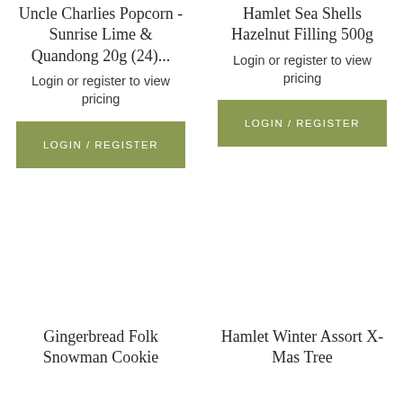Uncle Charlies Popcorn -Sunrise Lime & Quandong 20g (24)...
Login or register to view pricing
LOGIN / REGISTER
Hamlet Sea Shells Hazelnut Filling 500g
Login or register to view pricing
LOGIN / REGISTER
[Figure (photo): Product image placeholder area (blank)]
[Figure (photo): Product image placeholder area (blank)]
Gingerbread Folk Snowman Cookie
Hamlet Winter Assort X-Mas Tree